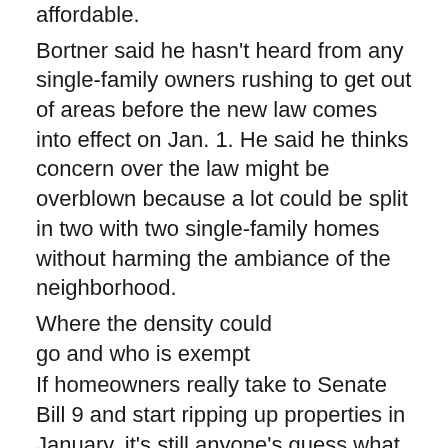affordable.
Bortner said he hasn't heard from any single-family owners rushing to get out of areas before the new law comes into effect on Jan. 1. He said he thinks concern over the law might be overblown because a lot could be split in two with two single-family homes without harming the ambiance of the neighborhood.
Where the density could go and who is exempt
If homeowners really take to Senate Bill 9 and start ripping up properties in January, it's still anyone's guess what areas will see the biggest density gains.
Currently, the densest housing area in all of San Diego County is in Mission Beach, said the San Diego Association of Governments.
Researchers cautioned housing density does not always mean population density. Coronado and Mission Beach